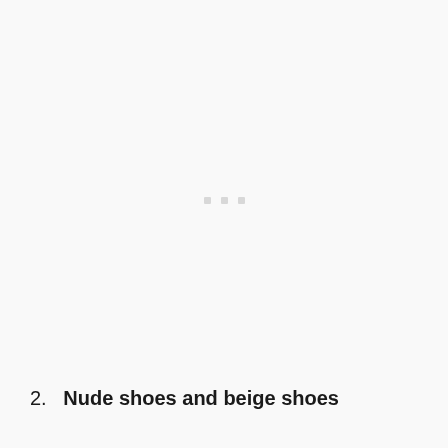[Figure (other): Large mostly blank/white image area with three faint small square dots centered in the middle, indicating a loading or placeholder image state.]
2.   Nude shoes and beige shoes